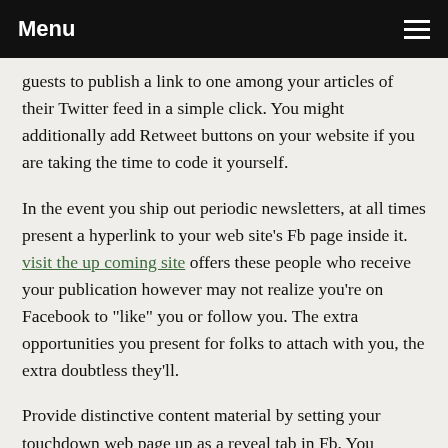Menu
guests to publish a link to one among your articles of their Twitter feed in a simple click. You might additionally add Retweet buttons on your website if you are taking the time to code it yourself.
In the event you ship out periodic newsletters, at all times present a hyperlink to your web site's Fb page inside it. visit the up coming site offers these people who receive your publication however may not realize you're on Facebook to "like" you or follow you. The extra opportunities you present for folks to attach with you, the extra doubtless they'll.
Provide distinctive content material by setting your touchdown web page up as a reveal tab in Fb. You possibly can include content material that could be particular video your followers may discover interesting, or you can do something like provide a